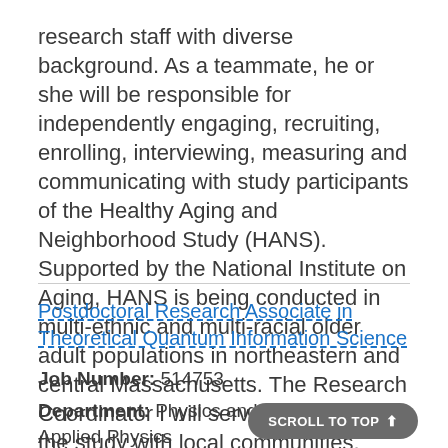research staff with diverse background. As a teammate, he or she will be responsible for independently engaging, recruiting, enrolling, interviewing, measuring and communicating with study participants of the Healthy Aging and Neighborhood Study (HANS). Supported by the National Institute on Aging, HANS is being conducted in multi-ethnic and multi-racial older adult populations in northeastern and central Massachusetts. The Research Coordinator I will serve as a liaison of the study with local communities.
Postdoctoral Research Associate in Theoretical Quantum Information Science
Job Number: 514753
Department: Physics and Applied Physics